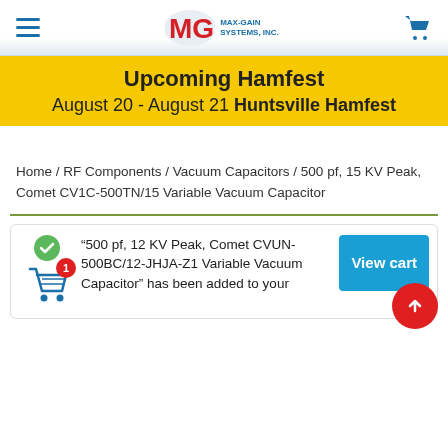[Figure (logo): MGS Max-Gain Systems, Inc. logo with hamburger menu and cart icon in site header]
Upcoming Hamfest
August 20 - August 21 Huntsville Hamfest
Home / RF Components / Vacuum Capacitors / 500 pf, 15 KV Peak, Comet CV1C-500TN/15 Variable Vacuum Capacitor
“500 pf, 12 KV Peak, Comet CVUN-500BC/12-JHJA-Z1 Variable Vacuum Capacitor” has been added to your